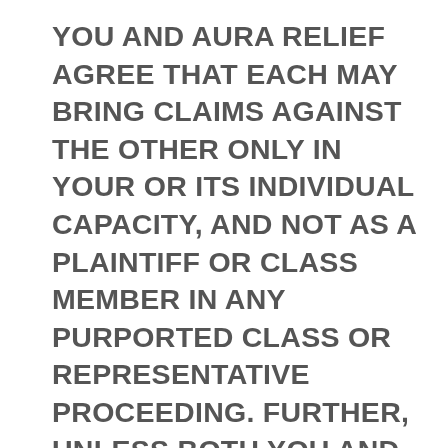YOU AND AURA RELIEF AGREE THAT EACH MAY BRING CLAIMS AGAINST THE OTHER ONLY IN YOUR OR ITS INDIVIDUAL CAPACITY, AND NOT AS A PLAINTIFF OR CLASS MEMBER IN ANY PURPORTED CLASS OR REPRESENTATIVE PROCEEDING. FURTHER, UNLESS BOTH YOU AND AURA RELIEF AGREE OTHERWISE, THE ARBITRATOR MAY NOT CONSOLIDATE MORE THAN ONE PERSON'S CLAIMS WITH YOUR CLAIMS, AND MAY NOT OTHERWISE PRESIDE OVER ANY FORM OF A REPRESENTATIVE OR CLASS